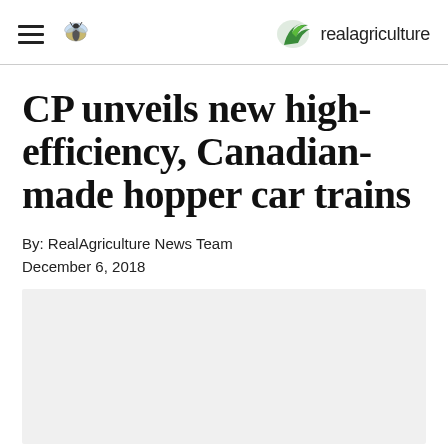realagriculture
CP unveils new high-efficiency, Canadian-made hopper car trains
By: RealAgriculture News Team
December 6, 2018
[Figure (photo): Gray placeholder image area for article photo]